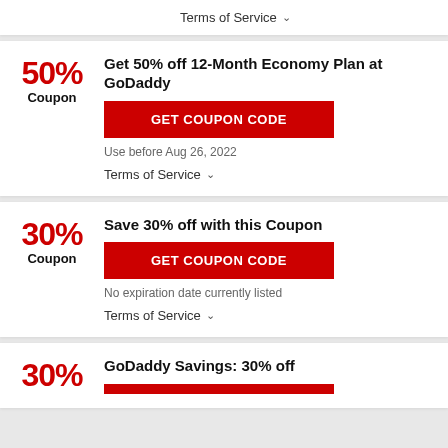Terms of Service ∨
50% Coupon
Get 50% off 12-Month Economy Plan at GoDaddy
GET COUPON CODE
Use before Aug 26, 2022
Terms of Service ∨
30% Coupon
Save 30% off with this Coupon
GET COUPON CODE
No expiration date currently listed
Terms of Service ∨
30%
GoDaddy Savings: 30% off